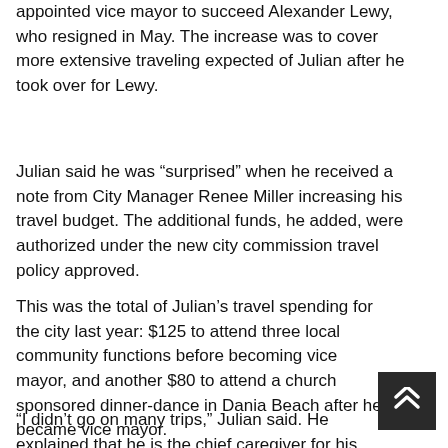appointed vice mayor to succeed Alexander Lewy, who resigned in May. The increase was to cover more extensive traveling expected of Julian after he took over for Lewy.
Julian said he was “surprised” when he received a note from City Manager Renee Miller increasing his travel budget. The additional funds, he added, were authorized under the new city commission travel policy approved.
This was the total of Julian’s travel spending for the city last year: $125 to attend three local community functions before becoming vice mayor, and another $80 to attend a church sponsored dinner-dance in Dania Beach after he became vice mayor.
“I didn’t go on many trips,” Julian said. He explained that he is the chief caregiver for his